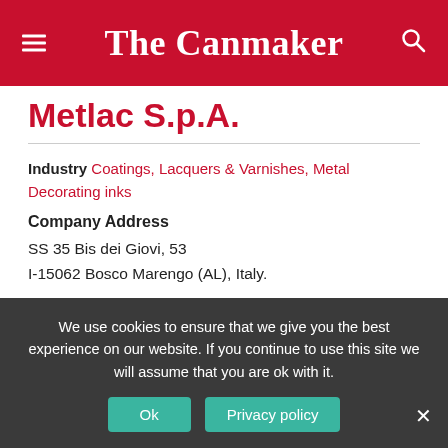The Canmaker
Metlac S.p.A.
Industry Coatings, Lacquers & Varnishes, Metal Decorating inks
Company Address
SS 35 Bis dei Giovi, 53
I-15062 Bosco Marengo (AL), Italy.
Phone Number +39 0131 291200
Country Italy
We use cookies to ensure that we give you the best experience on our website. If you continue to use this site we will assume that you are ok with it.
Ok   Privacy policy